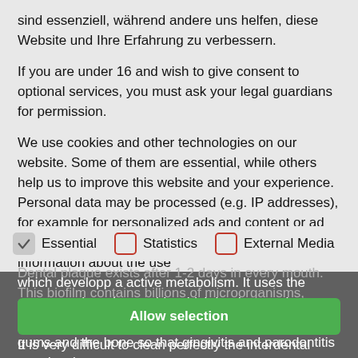sind essenziell, während andere uns helfen, diese Website und Ihre Erfahrung zu verbessern.
If you are under 16 and wish to give consent to optional services, you must ask your legal guardians for permission.
We use cookies and other technologies on our website. Some of them are essential, while others help us to improve this website and your experience. Personal data may be processed (e.g. IP addresses), for example for personalized ads and content or ad and content measurement. You can find more information about the use
Essential   Statistics   External Media
Dental plaque exists after 1-2 days in every mouth. This biofilm contains billions of microorganisms,
Allow selection
which developp a active metabolism. It uses the sugars and produce acids which leads to caries lesions. They also produce toxins which distroyes the gums and the bone so that gingivitis and parodontitis can develop.
It is very difficult to clean perfectly the interdental